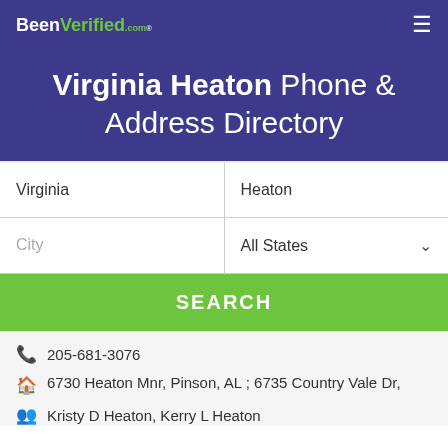BeenVerified.com
Virginia Heaton Phone & Address Directory
Virginia | Heaton
City | All States
SEARCH
205-681-3076
6730 Heaton Mnr, Pinson, AL ; 6735 Country Vale Dr,
Kristy D Heaton, Kerry L Heaton